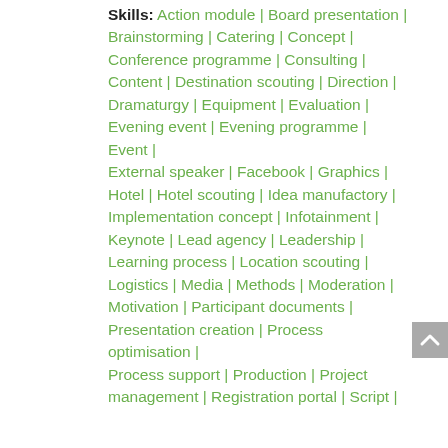Skills: Action module | Board presentation | Brainstorming | Catering | Concept | Conference programme | Consulting | Content | Destination scouting | Direction | Dramaturgy | Equipment | Evaluation | Evening event | Evening programme | Event | External speaker | Facebook | Graphics | Hotel | Hotel scouting | Idea manufactory | Implementation concept | Infotainment | Keynote | Lead agency | Leadership | Learning process | Location scouting | Logistics | Media | Methods | Moderation | Motivation | Participant documents | Presentation creation | Process optimisation | Process support | Production | Project management | Registration portal | Script |